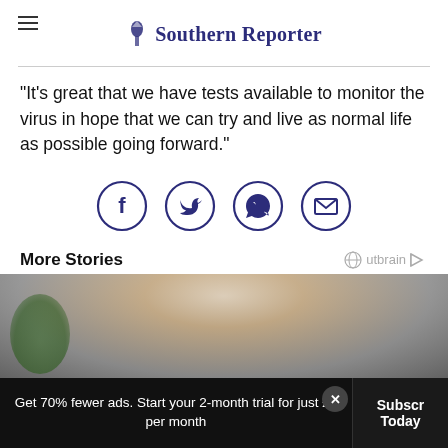Southern Reporter
“It’s great that we have tests available to monitor the virus in hope that we can try and live as normal life as possible going forward.”
[Figure (infographic): Social sharing icons in circles: Facebook, Twitter, WhatsApp, Email]
More Stories
[Figure (photo): Photo of a person, appears to be a woman with blonde hair, partially visible]
Get 70% fewer ads. Start your 2-month trial for just £2 per month
Subscribe Today